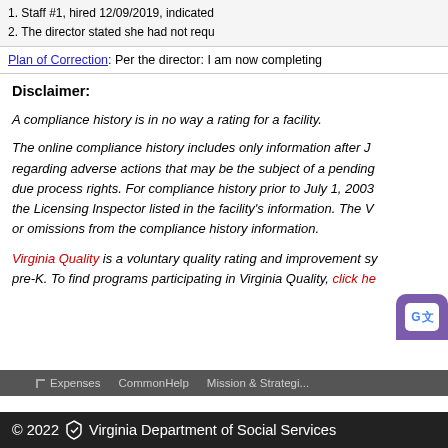| 1. Staff #1, hired 12/09/2019, indicated |
| 2. The director stated she had not requ |
Plan of Correction: Per the director: I am now completing
Disclaimer:
A compliance history is in no way a rating for a facility.
The online compliance history includes only information after J regarding adverse actions that may be the subject of a pending due process rights. For compliance history prior to July 1, 2003 the Licensing Inspector listed in the facility's information. The V or omissions from the compliance history information.
Virginia Quality is a voluntary quality rating and improvement sy pre-K. To find programs participating in Virginia Quality, click he
Expenses   CommonHelp   Mission & Strategi...
© 2022 Virginia Department of Social Services